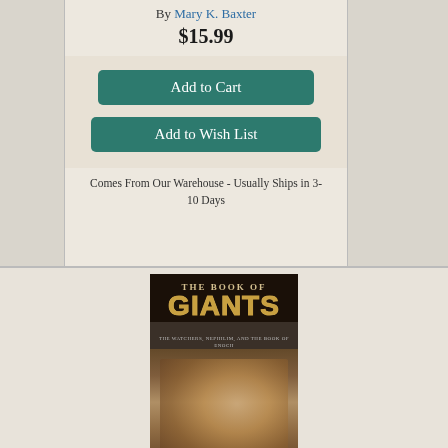By Mary K. Baxter
$15.99
Add to Cart
Add to Wish List
Comes From Our Warehouse - Usually Ships in 3-10 Days
[Figure (photo): Book cover of 'The Book of Giants: The Watchers, Nephilim, and The Book of Enoch' by Joseph Lumpkin]
The Book of Giants: The Watchers, Nephilim, and The Book of Enoch (Paperback)
By Joseph Lumpkin
$16.54